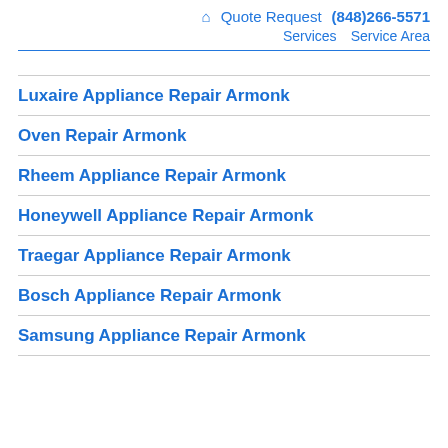🏠 Quote Request (848)266-5571 Services Service Area
Luxaire Appliance Repair Armonk
Oven Repair Armonk
Rheem Appliance Repair Armonk
Honeywell Appliance Repair Armonk
Traegar Appliance Repair Armonk
Bosch Appliance Repair Armonk
Samsung Appliance Repair Armonk